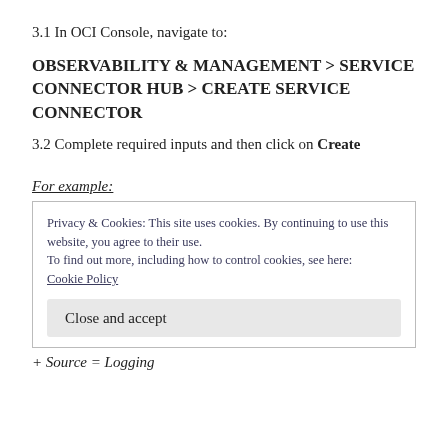3.1 In OCI Console, navigate to:
OBSERVABILITY & MANAGEMENT > SERVICE CONNECTOR HUB > CREATE SERVICE CONNECTOR
3.2 Complete required inputs and then click on Create
For example:
Privacy & Cookies: This site uses cookies. By continuing to use this website, you agree to their use.
To find out more, including how to control cookies, see here:
Cookie Policy
Close and accept
+ Source = Logging